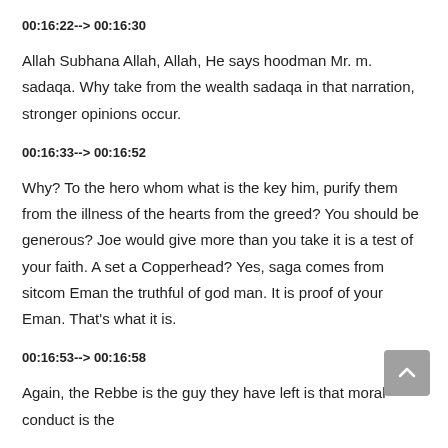00:16:22--> 00:16:30
Allah Subhana Allah, Allah, He says hoodman Mr. m. sadaqa. Why take from the wealth sadaqa in that narration, stronger opinions occur.
00:16:33--> 00:16:52
Why? To the hero whom what is the key him, purify them from the illness of the hearts from the greed? You should be generous? Joe would give more than you take it is a test of your faith. A set a Copperhead? Yes, saga comes from sitcom Eman the truthful of god man. It is proof of your Eman. That's what it is.
00:16:53--> 00:16:58
Again, the Rebbe is the guy they have left is that moral conduct is the